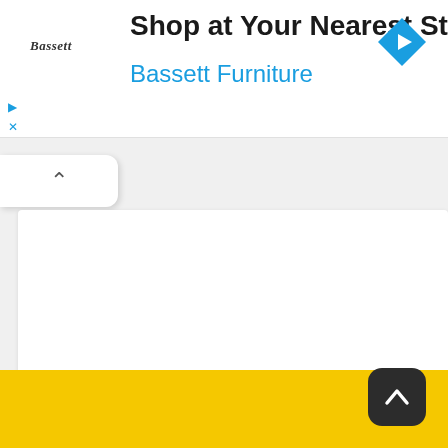[Figure (screenshot): Advertisement banner for Bassett Furniture with logo, title 'Shop at Your Nearest Store', subtitle 'Bassett Furniture', and a blue navigation arrow icon. Includes play and close controls.]
[Figure (screenshot): A collapsed panel tab with an upward chevron arrow on the left side of the screen.]
[Figure (screenshot): White content box on a yellow background, representing a web page content area.]
[Figure (screenshot): Yellow section of a webpage below the content box, occupying the lower portion of the visible area.]
[Figure (screenshot): Gray background area at the bottom of the page with a dark rounded back-to-top button in the bottom right corner.]